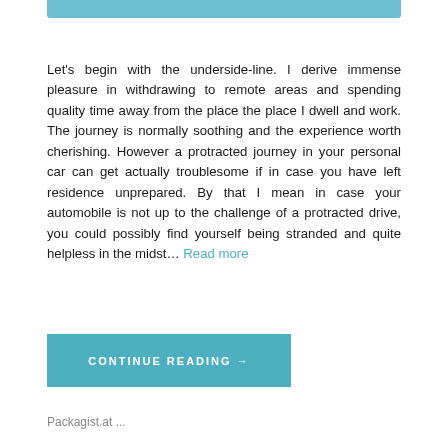Let's begin with the underside-line. I derive immense pleasure in withdrawing to remote areas and spending quality time away from the place the place I dwell and work. The journey is normally soothing and the experience worth cherishing. However a protracted journey in your personal car can get actually troublesome if in case you have left residence unprepared. By that I mean in case your automobile is not up to the challenge of a protracted drive, you could possibly find yourself being stranded and quite helpless in the midst… Read more
CONTINUE READING →